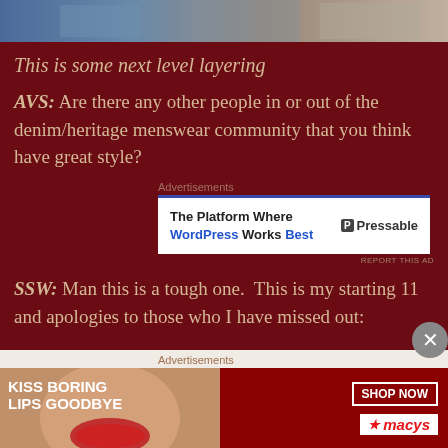[Figure (photo): Top strip showing a fashion photo of people in denim/heritage menswear layering]
This is some next level layering
AVS: Are there any other people in or out of the denim/heritage menswear community that you think have great style?
[Figure (other): Advertisement banner: The Platform Where WordPress Works Best - Pressable]
SSW: Man this is a tough one.  This is my starting 11 and apologies to those who I have missed out:
[Figure (other): Advertisement banner: Kiss Boring Lips Goodbye - Shop Now - Macy's]